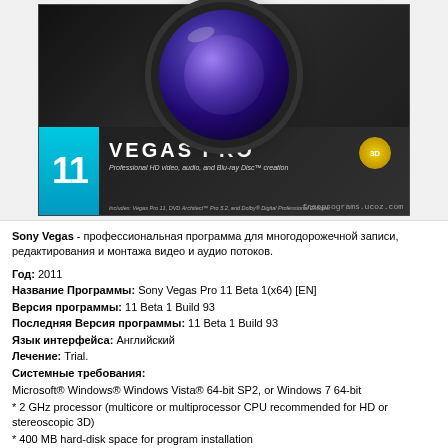[Figure (photo): Sony Vegas Pro 11 software box with camera lens on top and blue strip with number 11, watermark freeprograms.ucoz.com]
Sony Vegas - профессиональная программа для многодорожечной записи, редактирования и монтажа видео и аудио потоков.
Год: 2011
Название Программы: Sony Vegas Pro 11 Beta 1(x64) [EN]
Версия программы: 11 Beta 1 Build 93
Последняя Версия программы: 11 Beta 1 Build 93
Язык интерфейса: Английский
Лечение: Trial.
Системные требования:
Microsoft® Windows® Windows Vista® 64-bit SP2, or Windows 7 64-bit
* 2 GHz processor (multicore or multiprocessor CPU recommended for HD or stereoscopic 3D)
* 400 MB hard-disk space for program installation
* 1 GB RAM (2 GB recommended)